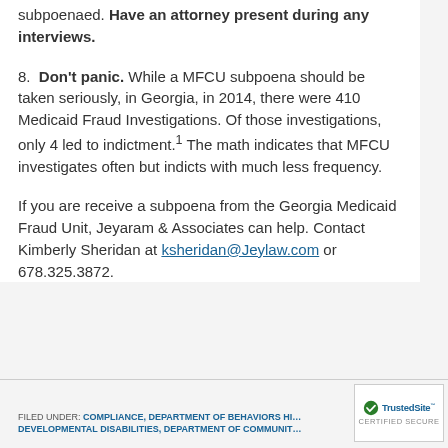subpoenaed. Have an attorney present during any interviews.
8. Don't panic. While a MFCU subpoena should be taken seriously, in Georgia, in 2014, there were 410 Medicaid Fraud Investigations. Of those investigations, only 4 led to indictment.1 The math indicates that MFCU investigates often but indicts with much less frequency.
If you are receive a subpoena from the Georgia Medicaid Fraud Unit, Jeyaram & Associates can help. Contact Kimberly Sheridan at ksheridan@Jeylaw.com or 678.325.3872.
FILED UNDER: COMPLIANCE, DEPARTMENT OF BEHAVIORS HI… DEVELOPMENTAL DISABILITIES, DEPARTMENT OF COMMUNIT…